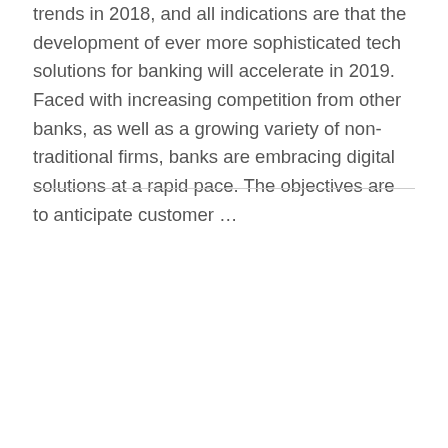trends in 2018, and all indications are that the development of ever more sophisticated tech solutions for banking will accelerate in 2019. Faced with increasing competition from other banks, as well as a growing variety of non-traditional firms, banks are embracing digital solutions at a rapid pace. The objectives are to anticipate customer ...